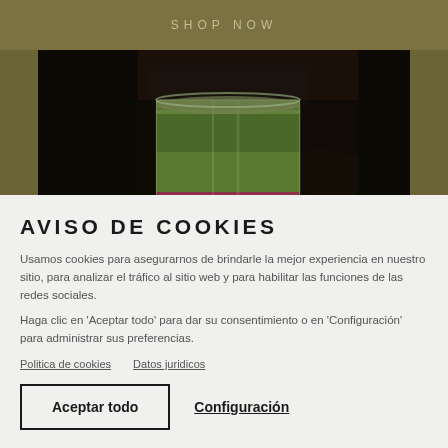SHOP NOW
[Figure (photo): Close-up photo of a glass containing layered colorful liquid (green, pink/red layers) resembling a cocktail or drink, with dark blurred background]
AVISO DE COOKIES
Usamos cookies para asegurarnos de brindarle la mejor experiencia en nuestro sitio, para analizar el tráfico al sitio web y para habilitar las funciones de las redes sociales.
Haga clic en 'Aceptar todo' para dar su consentimiento o en 'Configuración' para administrar sus preferencias.
Politica de cookies    Datos juridicos
Aceptar todo    Configuración